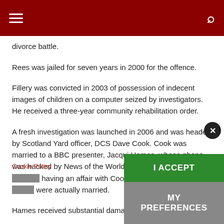[hamburger menu] [search icon]
divorce battle.
Rees was jailed for seven years in 2000 for the offence.
Fillery was convicted in 2003 of possession of indecent images of children on a computer seized by investigators. He received a three-year community rehabilitation order.
A fresh investigation was launched in 2006 and was headed by Scotland Yard officer, DCS Dave Cook. Cook was married to a BBC presenter, Jacqui Hames, whose phone was hacked by News of the World journalists who believed she was having an affair with Cook. They were unaware the couple were actually married.
Hames received substantial damages for the intrusion
Cookie Policy
I ACCEPT
MY PREFERENCES